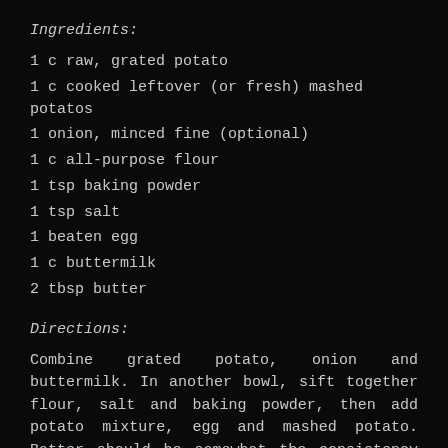Ingredients:
1 c raw, grated potato
1 c cooked leftover (or fresh) mashed potatos
1 onion, minced fine (optional)
1 c all-purpose flour
1 tsp baking powder
1 tsp salt
1 beaten egg
1 c buttermilk
2 tbsp butter
Directions:
Combine grated potato, onion and buttermilk. In another bowl, sift together flour, salt and baking powder, then add potato mixture, egg and mashed potato. Batter should be somewhat the consistency of pancake mix. Add additional flour or buttermilk if need be.
Melt butter in heavy skillet over medium heat. Drop spoonfuls of batter into skillet, forming 4"